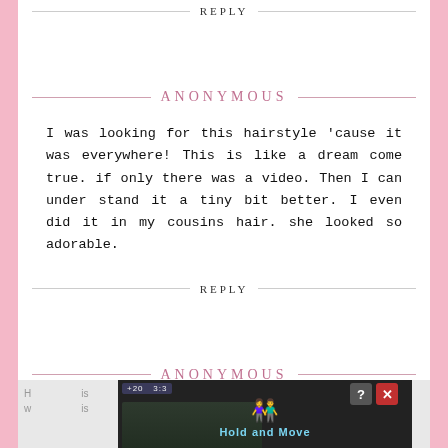REPLY
ANONYMOUS
I was looking for this hairstyle 'cause it was everywhere! This is like a dream come true. if only there was a video. Then I can under stand it a tiny bit better. I even did it in my cousins hair. she looked so adorable.
REPLY
ANONYMOUS
[Figure (screenshot): Advertisement banner showing 'Hold and Move' app/game with dark background, trees, game UI elements, and close/help buttons]